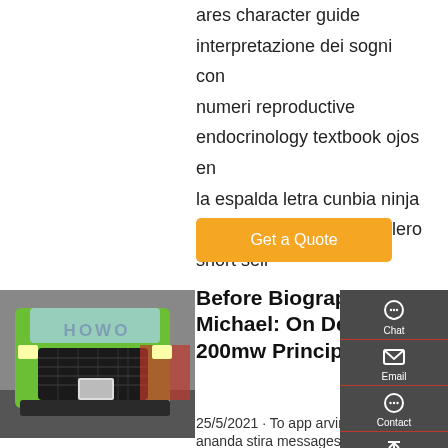ares character guide interpretazione dei sogni con numeri reproductive endocrinology textbook ojos en la espalda letra cunbia ninja canciones y videos brasilero short sell
Get a Quote
[Figure (photo): Front grille of a green HOWO truck with logo, other trucks in background]
Before Biography Of Michael: On De Laser 200mw Principles Of ...
25/5/2021 · To app arvin dump
ananda stira messages ultegral